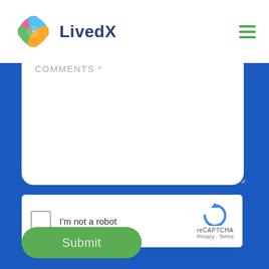[Figure (logo): LivedX logo with colorful X shape (pink, blue, green, orange petals) and dark blue text 'LivedX']
[Figure (other): Green hamburger menu icon (three horizontal lines)]
COMMENTS *
[Figure (other): reCAPTCHA widget with checkbox, 'I'm not a robot' text, reCAPTCHA logo, Privacy and Terms links]
Submit